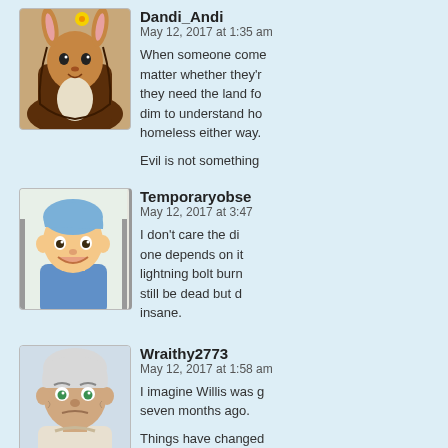[Figure (illustration): Avatar of Dandi_Andi: cartoon character in a bunny/animal costume with a flower]
Dandi_Andi
May 12, 2017 at 1:35 am
When someone comes matter whether they're they need the land fo dim to understand ho homeless either way.

Evil is not something
[Figure (illustration): Avatar of Temporaryobse: cartoon boy with blue hair smiling]
Temporaryobse
May 12, 2017 at 3:47
I don't care the di one depends on it lightning bolt burn still be dead but d insane.
[Figure (illustration): Avatar of Wraithy2773: cartoon older man with white hair and green eyes]
Wraithy2773
May 12, 2017 at 1:58 am
I imagine Willis was g seven months ago.

Things have changed